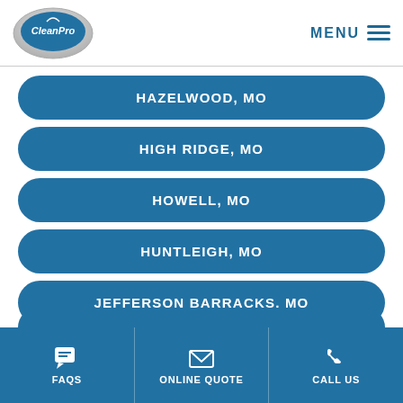CleanPro | MENU
HAZELWOOD, MO
HIGH RIDGE, MO
HOWELL, MO
HUNTLEIGH, MO
JEFFERSON BARRACKS, MO
FAQS | ONLINE QUOTE | CALL US